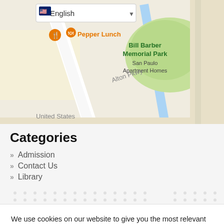[Figure (map): Google Maps screenshot showing Alton Pkwy, Pepper Lunch restaurant marker, Bill Barber Memorial Park (green area), San Paulo Apartment Homes, United States label, and English language selector dropdown at top.]
Categories
Admission
Contact Us
Library
We use cookies on our website to give you the most relevant experience by remembering your preferences and repeat visits. By clicking “Accept All”, you consent to the use of ALL the cookies. However, you may visit "Cookie Settings" to provide a controlled consent.
Cookie Settings | Accept All